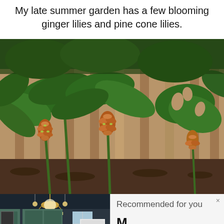My late summer garden has a few blooming ginger lilies and pine cone lilies.
[Figure (photo): Garden photo showing green ginger lily and pine cone lily plants with small reddish-orange cone-shaped flower buds, growing in front of a wooden fence, with mulch on the ground.]
[Figure (photo): Kitchen interior with teal/green cabinets, chandelier lighting, white refrigerator, and a kitchen island.]
Recommended for you
M...
www.livingwiththanksgiving.com
AddThis